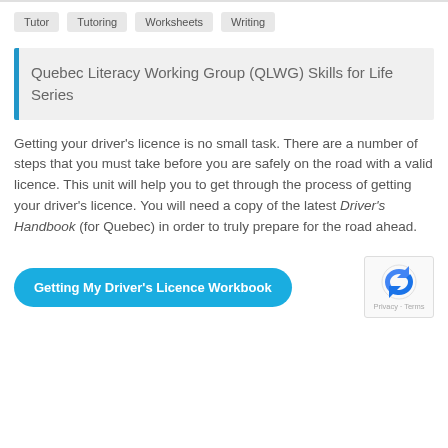Tutor
Tutoring
Worksheets
Writing
Quebec Literacy Working Group (QLWG) Skills for Life Series
Getting your driver’s licence is no small task. There are a number of steps that you must take before you are safely on the road with a valid licence. This unit will help you to get through the process of getting your driver’s licence. You will need a copy of the latest Driver’s Handbook (for Quebec) in order to truly prepare for the road ahead.
Getting My Driver’s Licence Workbook
[Figure (logo): reCAPTCHA logo with Privacy and Terms text]